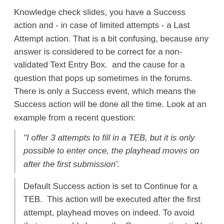Knowledge check slides, you have a Success action and - in case of limited attempts - a Last Attempt action. That is a bit confusing, because any answer is considered to be correct for a non-validated Text Entry Box.  and the cause for a question that pops up sometimes in the forums. There is only a Success event, which means the Success action will be done all the time. Look at an example from a recent question:
"I offer 3 attempts to fill in a TEB, but it is only possible to enter once, the playhead moves on after the first submission'.
Default Success action is set to Continue for a TEB.  This action will be executed after the first attempt, playhead moves on indeed. To avoid that, you could change the Success action to 'No action'. Result: user will have to fill in the field